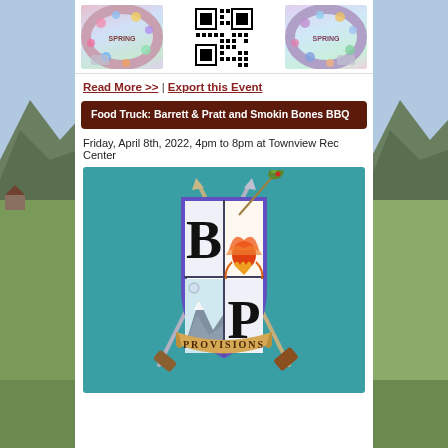[Figure (photo): Top strip with two spring wreath photos flanking a QR code on white background]
Read More >> | Export this Event
Food Truck: Barrett & Pratt and Smokin Bones BBQ
Friday, April 8th, 2022, 4pm to 8pm at Townview Rec Center
[Figure (logo): Barrett & Pratt Provisions logo on teal background - shield with B and P letters, phoenix, mountains, crossed sword and knife, with a martini olive on a pick]